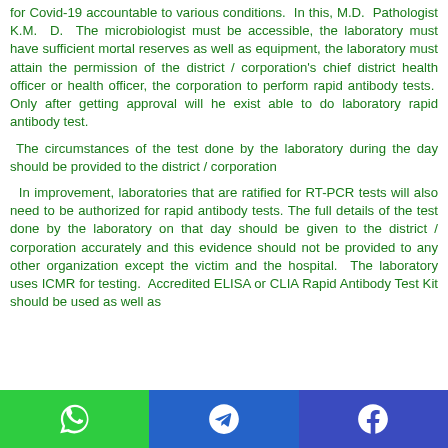for Covid-19 accountable to various conditions. In this, M.D. Pathologist K.M. D. The microbiologist must be accessible, the laboratory must have sufficient mortal reserves as well as equipment, the laboratory must attain the permission of the district / corporation's chief district health officer or health officer, the corporation to perform rapid antibody tests. Only after getting approval will he exist able to do laboratory rapid antibody test.
The circumstances of the test done by the laboratory during the day should be provided to the district / corporation
In improvement, laboratories that are ratified for RT-PCR tests will also need to be authorized for rapid antibody tests. The full details of the test done by the laboratory on that day should be given to the district / corporation accurately and this evidence should not be provided to any other organization except the victim and the hospital. The laboratory uses ICMR for testing. Accredited ELISA or CLIA Rapid Antibody Test Kit should be used as well as
[Figure (infographic): Bottom navigation/share bar with three icons: WhatsApp (green), Telegram (blue), Facebook (dark blue)]